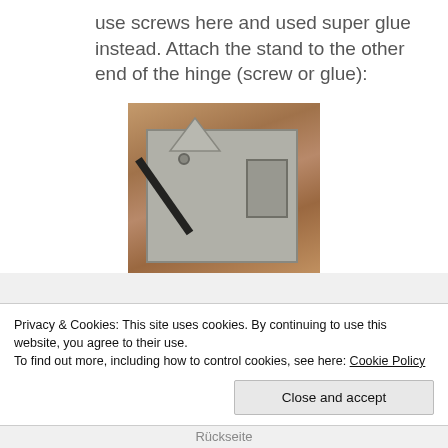use screws here and used super glue instead. Attach the stand to the other end of the hinge (screw or glue):
[Figure (photo): Photo of a cardboard stand assembly on a wooden surface, showing a grey cardboard piece with a rectangular cutout, a triangular stand piece on top, and a dark diagonal support bar, viewed from above.]
Privacy & Cookies: This site uses cookies. By continuing to use this website, you agree to their use.
To find out more, including how to control cookies, see here: Cookie Policy
Close and accept
Rückseite